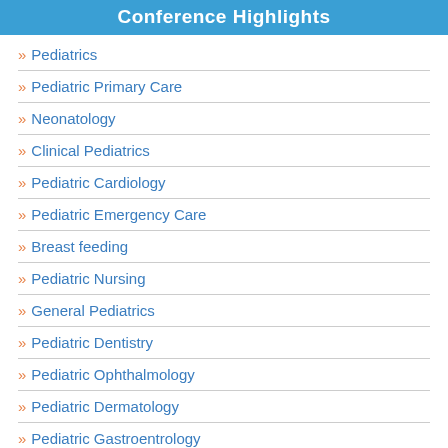Conference Highlights
Pediatrics
Pediatric Primary Care
Neonatology
Clinical Pediatrics
Pediatric Cardiology
Pediatric Emergency Care
Breast feeding
Pediatric Nursing
General Pediatrics
Pediatric Dentistry
Pediatric Ophthalmology
Pediatric Dermatology
Pediatric Gastroentrology
Infectious Diseases